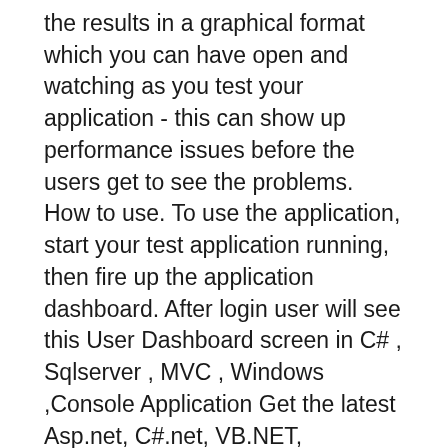the results in a graphical format which you can have open and watching as you test your application - this can show up performance issues before the users get to see the problems. How to use. To use the application, start your test application running, then fire up the application dashboard. After login user will see this User Dashboard screen in C# , Sqlserver , MVC , Windows ,Console Application Get the latest Asp.net, C#.net, VB.NET,
UI basics for Universal Windows Platform (UWP) For a painting app, [This article contains information that is specific to Universal Windows Platform Extension for Visual Studio - Put powerful dashboards & widgets into your Asp.Net applications. Dashboard and Widget